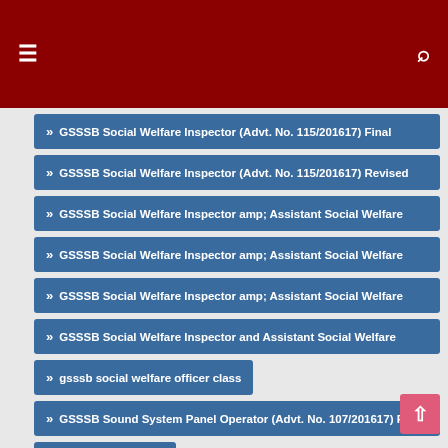GSSSB results list
» GSSSB Social Welfare Inspector (Advt. No. 115/201617) Final
» GSSSB Social Welfare Inspector (Advt. No. 115/201617) Revised
» GSSSB Social Welfare Inspector amp; Assistant Social Welfare
» GSSSB Social Welfare Inspector amp; Assistant Social Welfare
» GSSSB Social Welfare Inspector amp; Assistant Social Welfare
» GSSSB Social Welfare Inspector and Assistant Social Welfare
» gsssb social welfare officer class
» GSSSB Sound System Panel Operator (Advt. No. 107/201617) Final
» GSSSB Staff Nurse
» GSSSB Staff Nurse (Ayurveda Service) (Advt. No. 137/201718) Final
» GSSSB Statistical Assistant
» GSSSB Statistical Assistant (Advt. No. 103/201617) Final Result
» GSSSB Statistical Assistant (partial, cut off)